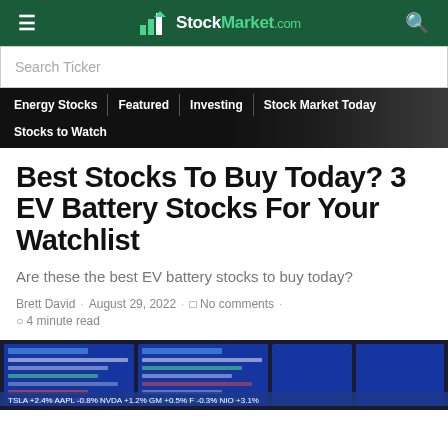StockMarket.com
Search Ticker
Energy Stocks | Featured | Investing | Stock Market Today | Stocks to Watch
Best Stocks To Buy Today? 3 EV Battery Stocks For Your Watchlist
Are these the best EV battery stocks to buy today?
Brett David · August 29, 2022 · No comments · 4 minute read
[Figure (photo): Stock market screens showing financial data with blue displays and ticker information]